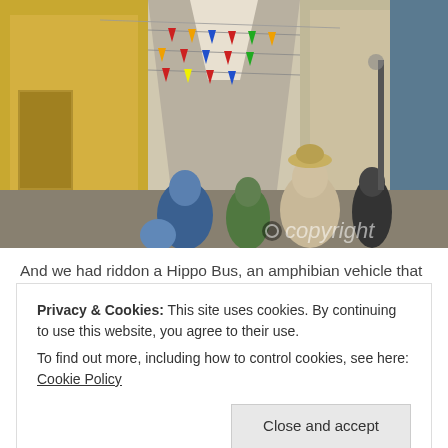[Figure (photo): A narrow European street (likely Lisbon, Portugal) decorated with colorful hanging flags and bunting strung between the buildings. Several tourists are walking away from the camera through the alley. Buildings are painted yellow and cream. A 'copyright' watermark appears in the lower right of the image.]
And we had riddon a Hippo Bus, an amphibian vehicle that
Privacy & Cookies: This site uses cookies. By continuing to use this website, you agree to their use.
To find out more, including how to control cookies, see here: Cookie Policy
Close and accept